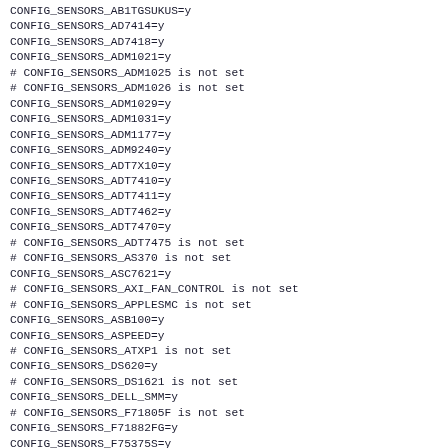CONFIG_SENSORS_AB1TGSUKUS=y
CONFIG_SENSORS_AD7414=y
CONFIG_SENSORS_AD7418=y
CONFIG_SENSORS_ADM1021=y
# CONFIG_SENSORS_ADM1025 is not set
# CONFIG_SENSORS_ADM1026 is not set
CONFIG_SENSORS_ADM1029=y
CONFIG_SENSORS_ADM1031=y
CONFIG_SENSORS_ADM1177=y
CONFIG_SENSORS_ADM9240=y
CONFIG_SENSORS_ADT7X10=y
CONFIG_SENSORS_ADT7410=y
CONFIG_SENSORS_ADT7411=y
CONFIG_SENSORS_ADT7462=y
CONFIG_SENSORS_ADT7470=y
# CONFIG_SENSORS_ADT7475 is not set
# CONFIG_SENSORS_AS370 is not set
CONFIG_SENSORS_ASC7621=y
# CONFIG_SENSORS_AXI_FAN_CONTROL is not set
# CONFIG_SENSORS_APPLESMC is not set
CONFIG_SENSORS_ASB100=y
CONFIG_SENSORS_ASPEED=y
# CONFIG_SENSORS_ATXP1 is not set
CONFIG_SENSORS_DS620=y
# CONFIG_SENSORS_DS1621 is not set
CONFIG_SENSORS_DELL_SMM=y
# CONFIG_SENSORS_F71805F is not set
CONFIG_SENSORS_F71882FG=y
CONFIG_SENSORS_F75375S=y
CONFIG_SENSORS_MC13783_ADC=y
CONFIG_SENSORS_FSCHMD=y